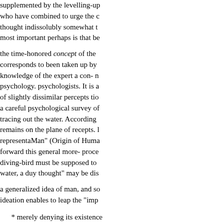supplemented by the levelling-up who have combined to urge the thought indissolubly somewhat to most important perhaps is that be the time-honored concept of the corresponds to been taken up by knowledge of the expert a con- n psychology. psychologists. It is a of slightly dissimilar percepts tio a careful psychological survey o tracing out the water. According remains on the plane of recepts. representaMan" (Origin of Huma forward this general more- proce diving-bird must be supposed to water, a duy thought" may be dis a generalized idea of man, and so ideation enables to leap the "imp
* merely denying its existence inference are not lowness in the principles, as when the writer's ti way expansion of the other.